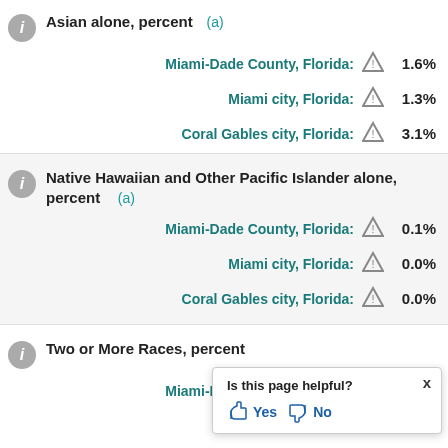Asian alone, percent (a)
Miami-Dade County, Florida: 1.6%
Miami city, Florida: 1.3%
Coral Gables city, Florida: 3.1%
Native Hawaiian and Other Pacific Islander alone, percent (a)
Miami-Dade County, Florida: 0.1%
Miami city, Florida: 0.0%
Coral Gables city, Florida: 0.0%
Two or More Races, percent
Miami-Dade County, Florida: 1.3%
Miami city, Florida: 12.6%
Coral Gables city, Florida: 11.1%
Hispanic or Latino, percent
Miami-Dade County, Florida: (partial, cut off)